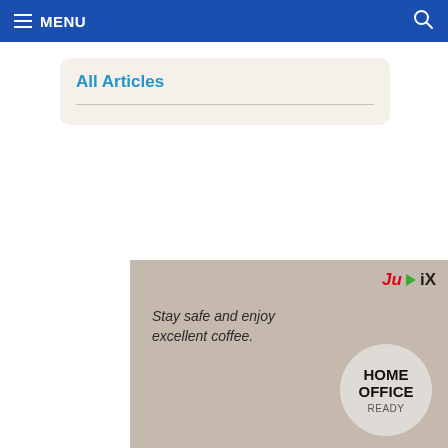MENU
All Articles
[Figure (screenshot): Advertisement banner: JuDiX logo, text 'Stay safe and enjoy excellent coffee.' with HOME OFFICE READY badge in a circle on a beige/tan background.]